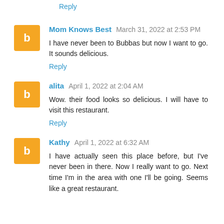Reply
Mom Knows Best March 31, 2022 at 2:53 PM
I have never been to Bubbas but now I want to go. It sounds delicious.
Reply
alita April 1, 2022 at 2:04 AM
Wow. their food looks so delicious. I will have to visit this restaurant.
Reply
Kathy April 1, 2022 at 6:32 AM
I have actually seen this place before, but I've never been in there. Now I really want to go. Next time I'm in the area with one I'll be going. Seems like a great restaurant.